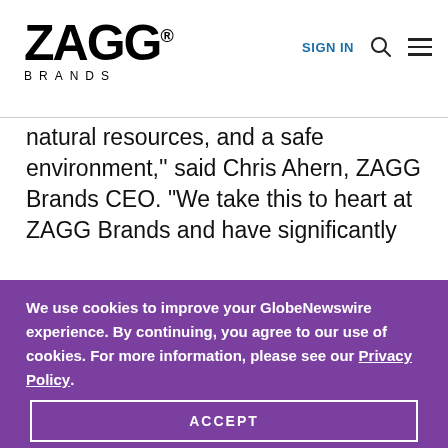ZAGG BRANDS — SIGN IN
natural resources, and a safe environment," said Chris Ahern, ZAGG Brands CEO. "We take this to heart at ZAGG Brands and have significantly
We use cookies to improve your GlobeNewswire experience. By continuing, you agree to our use of cookies. For more information, please see our Privacy Policy.
ACCEPT